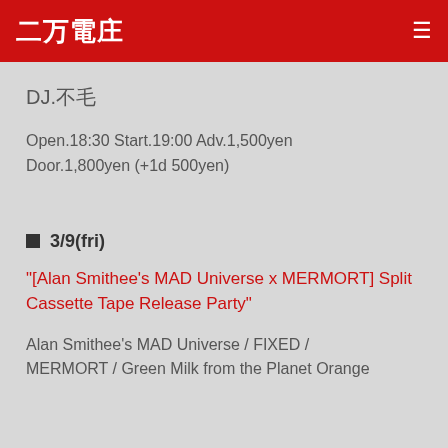二万電庄
DJ.不毛
Open.18:30 Start.19:00 Adv.1,500yen
Door.1,800yen (+1d 500yen)
■3/9(fri)
“[Alan Smithee’s MAD Universe x MERMORT] Split Cassette Tape Release Party”
Alan Smithee’s MAD Universe / FIXED / MERMORT / Green Milk from the Planet Orange